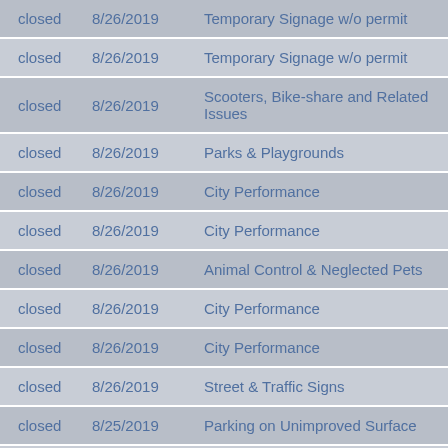| Status | Date | Description |
| --- | --- | --- |
| closed | 8/26/2019 | Temporary Signage w/o permit |
| closed | 8/26/2019 | Temporary Signage w/o permit |
| closed | 8/26/2019 | Scooters, Bike-share and Related Issues |
| closed | 8/26/2019 | Parks & Playgrounds |
| closed | 8/26/2019 | City Performance |
| closed | 8/26/2019 | City Performance |
| closed | 8/26/2019 | Animal Control & Neglected Pets |
| closed | 8/26/2019 | City Performance |
| closed | 8/26/2019 | City Performance |
| closed | 8/26/2019 | Street & Traffic Signs |
| closed | 8/25/2019 | Parking on Unimproved Surface |
| closed | 8/24/2019 | Website & Web Services |